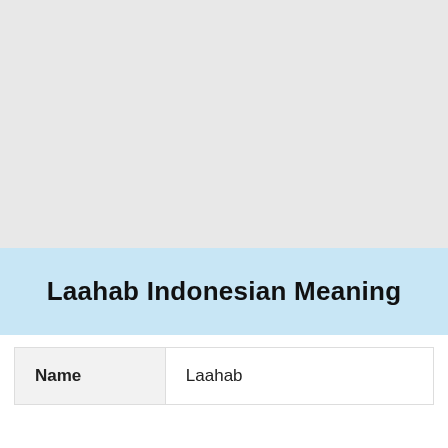[Figure (other): Gray background area filling the upper portion of the page]
Laahab Indonesian Meaning
| Name | Laahab |